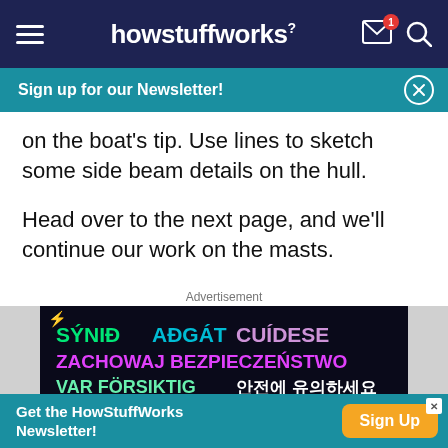howstuffworks
Sign up for our Newsletter!
on the boat's tip. Use lines to sketch some side beam details on the hull.
Head over to the next page, and we'll continue our work on the masts.
Advertisement
[Figure (screenshot): Advertisement banner showing multilingual safety text: SÝNIĐ AĐGÁT CUÍDESE (green, cyan, purple), ZACHOWAJ BEZPIECZEŃSTWO (magenta/pink), VAR FÖRSIKTIG 안전에 유의하세요 (green, white) on dark background with lightning bolt icon]
Get the HowStuffWorks Newsletter!